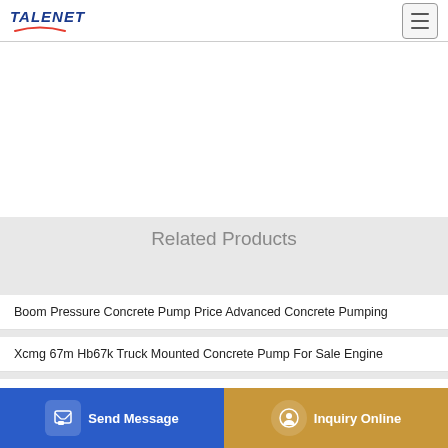TALENET
Related Products
Boom Pressure Concrete Pump Price Advanced Concrete Pumping
Xcmg 67m Hb67k Truck Mounted Concrete Pump For Sale Engine
Coime 31 on chassis IVECO TRAKKER 410T concrete pump
Premier Concrete Pumping near southside ct strawberry ln